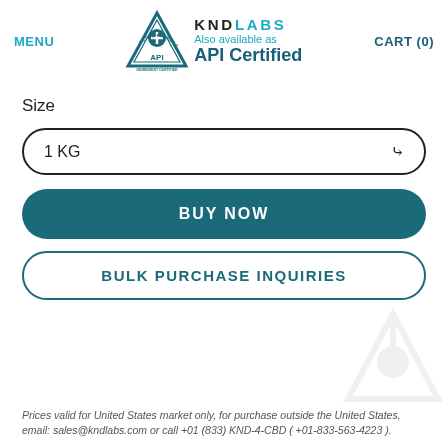MENU   KND LABS   Also available as API Certified   CART (0)
[Figure (logo): KND Labs logo with Active Pharmaceutical Ingredient Certified badge (triangle shape with API text) alongside KND LABS brand name and 'Also available as API Certified' text]
Size
1 KG
BUY NOW
BULK PURCHASE INQUIRIES
Prices valid for United States market only, for purchase outside the United States, email: sales@kndlabs.com or call +01 (833) KND-4-CBD ( +01-833-563-4223 ).